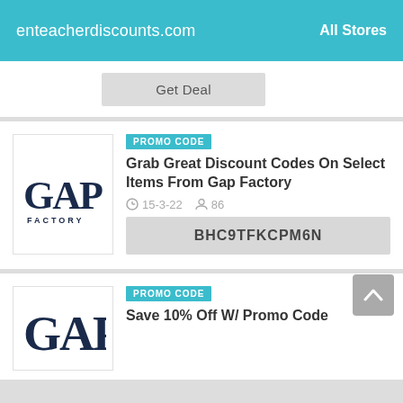enteacherdiscounts.com   All Stores
Get Deal
[Figure (logo): Gap Factory logo — bold serif GAP text with FACTORY in spaced capitals below]
PROMO CODE
Grab Great Discount Codes On Select Items From Gap Factory
15-3-22   86
BHC9TFKCPM6N
[Figure (logo): Gap logo — bold serif GAP text]
PROMO CODE
Save 10% Off W/ Promo Code